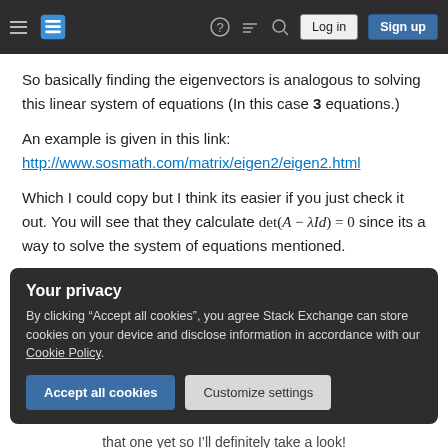Stack Exchange navigation bar with logo, help, chat, search, log in, sign up
So basically finding the eigenvectors is analogous to solving this linear system of equations (In this case 3 equations.)
An example is given in this link:
http://www.sosmath.com/matrix/eigen2/eigen2.html
Which I could copy but I think its easier if you just check it out. You will see that they calculate det(A − λId) = 0 since its a way to solve the system of equations mentioned.
Your privacy
By clicking "Accept all cookies", you agree Stack Exchange can store cookies on your device and disclose information in accordance with our Cookie Policy.
Accept all cookies | Customize settings
that one yet so I'll definitely take a look!